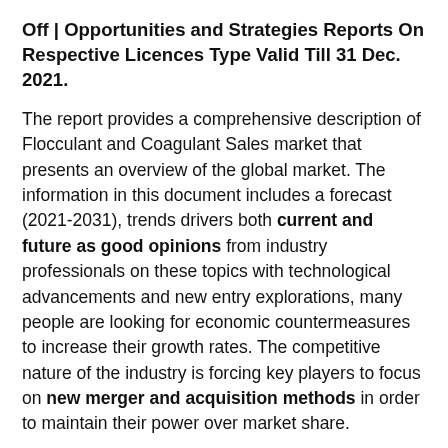Off | Opportunities and Strategies Reports On Respective Licences Type Valid Till 31 Dec. 2021.
The report provides a comprehensive description of Flocculant and Coagulant Sales market that presents an overview of the global market. The information in this document includes a forecast (2021-2031), trends drivers both current and future as good opinions from industry professionals on these topics with technological advancements and new entry explorations, many people are looking for economic countermeasures to increase their growth rates. The competitive nature of the industry is forcing key players to focus on new merger and acquisition methods in order to maintain their power over market share.
Looking for customized insights to raise your business for the future, ask for a sample report here: https://market.us/report/flocculant-and-coagulant